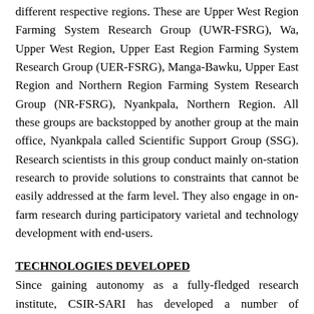different respective regions. These are Upper West Region Farming System Research Group (UWR-FSRG), Wa, Upper West Region, Upper East Region Farming System Research Group (UER-FSRG), Manga-Bawku, Upper East Region and Northern Region Farming System Research Group (NR-FSRG), Nyankpala, Northern Region. All these groups are backstopped by another group at the main office, Nyankpala called Scientific Support Group (SSG). Research scientists in this group conduct mainly on-station research to provide solutions to constraints that cannot be easily addressed at the farm level. They also engage in on-farm research during participatory varietal and technology development with end-users.
TECHNOLOGIES DEVELOPED
Since gaining autonomy as a fully-fledged research institute, CSIR-SARI has developed a number of technologies in the area of crop varieties development, cropping systems research, crop